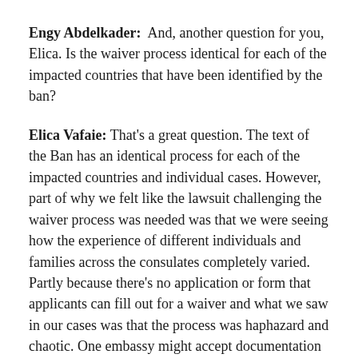Engy Abdelkader: And, another question for you, Elica. Is the waiver process identical for each of the impacted countries that have been identified by the ban?
Elica Vafaie: That's a great question. The text of the Ban has an identical process for each of the impacted countries and individual cases. However, part of why we felt like the lawsuit challenging the waiver process was needed was that we were seeing how the experience of different individuals and families across the consulates completely varied. Partly because there's no application or form that applicants can fill out for a waiver and what we saw in our cases was that the process was haphazard and chaotic. One embassy might accept documentation while another embassy